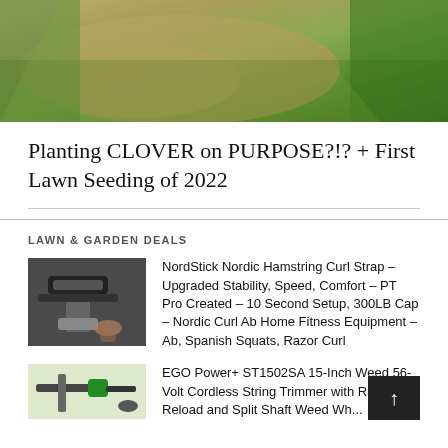[Figure (photo): Aerial or ground-level photo showing lawn with patches of bare dirt and green grass]
Planting CLOVER on PURPOSE?!? + First Lawn Seeding of 2022
LAWN & GARDEN DEALS
NordStick Nordic Hamstring Curl Strap – Upgraded Stability, Speed, Comfort – PT Pro Created – 10 Second Setup, 300LB Cap – Nordic Curl Ab Home Fitness Equipment – Ab, Spanish Squats, Razor Curl
EGO Power+ ST1502SA 15-Inch Weed 56-Volt Cordless String Trimmer with Rapid Reload and Split Shaft Weed Wh...